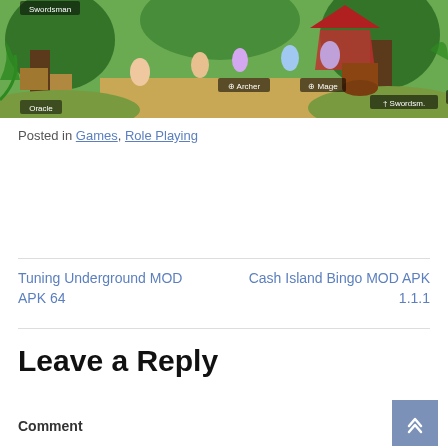[Figure (screenshot): A fantasy RPG mobile game screenshot showing anime-style characters in a forest/outdoor setting with character class labels: Swordsman, Oracle, Rogue, Archer, Mage, Swordswoman, Oracle]
Posted in Games, Role Playing
Tuning Underground MOD APK 64
Cash Island Bingo MOD APK 1.1.1
Leave a Reply
Comment